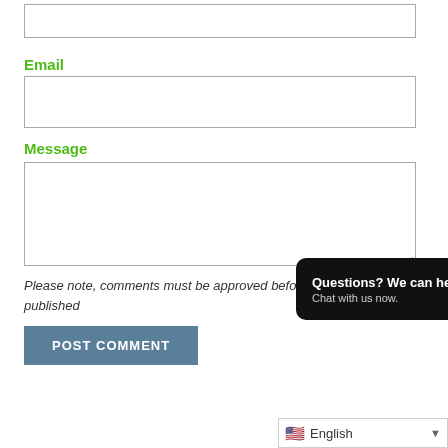[Figure (screenshot): Empty text input box for a form field (top of page, partially visible)]
Email
[Figure (screenshot): Empty email input box]
Message
[Figure (screenshot): Empty message textarea with resize handle]
Please note, comments must be approved before they are published
[Figure (screenshot): POST COMMENT button in blue-grey color]
[Figure (screenshot): Chat popup widget with text 'Questions? We can help. Chat with us now.' and blue chat icon on dark background]
[Figure (screenshot): English language selector dropdown at bottom right]